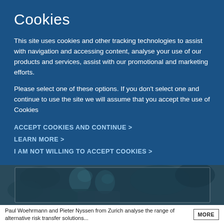Cookies
This site uses cookies and other tracking technologies to assist with navigation and accessing content, analyse your use of our products and services, assist with our promotional and marketing efforts.
Please select one of these options. If you don't select one and continue to use the site we will assume that you accept the use of Cookies
ACCEPT COOKIES AND CONTINUE >
LEARN MORE >
I AM NOT WILLING TO ACCEPT COOKIES >
[Figure (photo): Dark blueish-tinted photo of Paul Woehrmann and Pieter Nyssen from Zurich]
Paul Woehrmann and Pieter Nyssen from Zurich analyse the range of alternative risk transfer solutions...